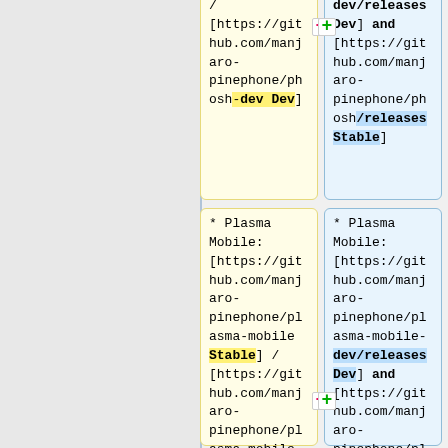/ [https://github.com/manjaro-pinephone/phosh-dev Dev]
dev/releases Dev] and [https://github.com/manjaro-pinephone/phosh/releases Stable]
* Plasma Mobile: [https://github.com/manjaro-pinephone/plasma-mobile Stable] / [https://github.com/manjaro-pinephone/plasma-mobile-dev Dev]
* Plasma Mobile: [https://github.com/manjaro-pinephone/plasma-mobile-dev/releases Dev] and [https://github.com/manjaro-pinephone/pl asma-